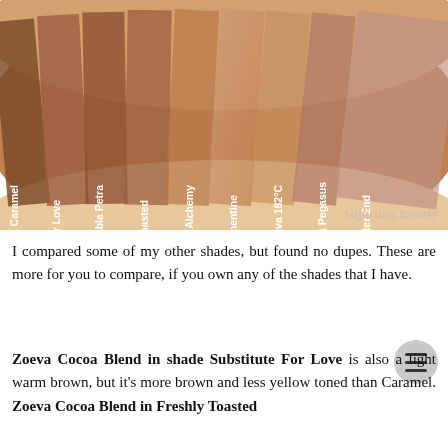[Figure (photo): Arm swatches showing 9 makeup shades from left to right: Nabla Caramel, Zoeva Substitute For Love, Nabla Petra, Zoeva Freshly Toasted, Zoeva Alchemy, Nabla Clementine, Zoeva 182°C, Nabla Pegasus, Zoeva Sweeter End. Labels are written in white diagonal text on the swatches. Watermark reads 'Adjusting Beauty' in bottom right.]
I compared some of my other shades, but found no dupes. These are more for you to compare, if you own any of the shades that I have.
Zoeva Cocoa Blend in shade Substitute For Love is also a light warm brown, but it's more brown and less yellow toned than Caramel. Zoeva Cocoa Blend in Freshly Toasted